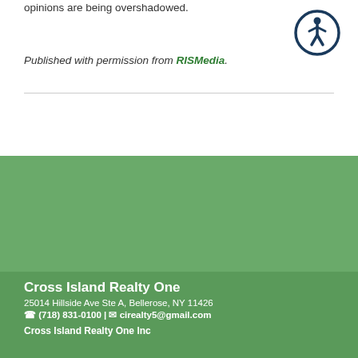opinions are being overshadowed.
Published with permission from RISMedia.
[Figure (other): Accessibility icon — circular dark blue border with white human figure silhouette in universal accessibility symbol style]
Cross Island Realty One
25014 Hillside Ave Ste A, Bellerose, NY 11426
(718) 831-0100 | cirealty5@gmail.com
Cross Island Realty One Inc